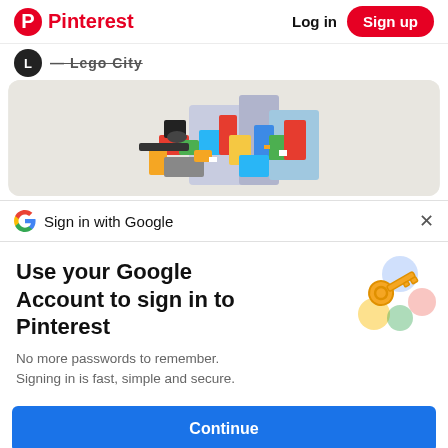Pinterest  Log in  Sign up
Lego City
[Figure (photo): Colorful dense city/mech scene made of Lego bricks against light gray background]
Sign in with Google
Use your Google Account to sign in to Pinterest
No more passwords to remember.
Signing in is fast, simple and secure.
[Figure (illustration): Google key and passkey colorful bubbles illustration]
Continue